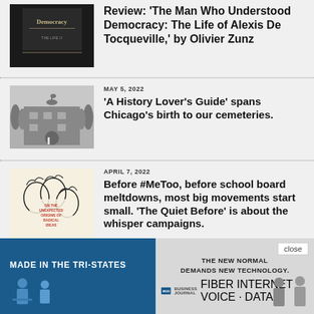[Figure (photo): Book cover: 'The Man Who Understood Democracy: The Life Of [Alexis De Tocqueville]' dark cover]
Review: ‘The Man Who Understood Democracy: The Life of Alexis De Tocqueville,’ by Olivier Zunz
[Figure (photo): Black and white photo of a building with a horse statue on top, trees in background, person walking]
MAY 5, 2022
‘A History Lover’s Guide’ spans Chicago’s birth to our cemeteries.
[Figure (illustration): Line drawing illustration of faces with text: ON THE UNEXPECTED ORIGINS OF RADICAL IDEAS]
APRIL 7, 2022
Before #MeToo, before school board meltdowns, most big movements start small. ‘The Quiet Before’ is about the whisper campaigns.
[Figure (photo): Advertisement banner: MADE IN THE TRI-STATES / THE NEW NORMAL DEMANDS NEW TECHNOLOGY. Business Journal FIBER INTERNET + VOICE + DATA. Close button visible.]